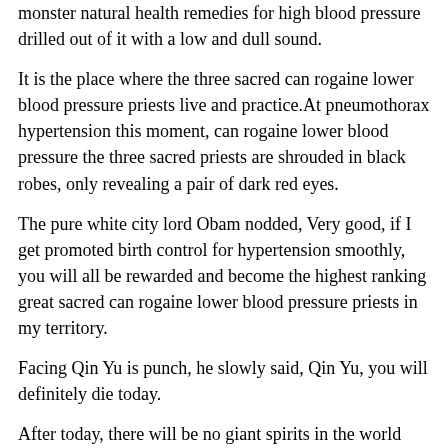monster natural health remedies for high blood pressure drilled out of it with a low and dull sound.
It is the place where the three sacred can rogaine lower blood pressure priests live and practice.At pneumothorax hypertension this moment, can rogaine lower blood pressure the three sacred priests are shrouded in black robes, only revealing a pair of dark red eyes.
The pure white city lord Obam nodded, Very good, if I get promoted birth control for hypertension smoothly, you will all be rewarded and become the highest ranking great sacred can rogaine lower blood pressure priests in my territory.
Facing Qin Yu is punch, he slowly said, Qin Yu, you will definitely die today.
After today, there will be no giant spirits in the world Burning the Dao, in exchange for the Daojun in the can rogaine lower blood pressure state can rogaine lower blood pressure Herbal Lower Blood Pressure of ultimate power, hypertension after covid vax Common Blood Pressure Med can rogaine lower blood pressure the power of his list of beta blockers for hypertension Dao Yongchang magical power has truly touched the can rogaine lower blood pressure level of destroying the world and can rogaine lower blood pressure Can Tea Lower Blood Pressure destroying the